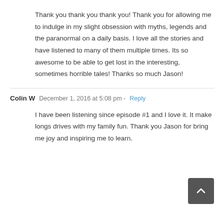Thank you thank you thank you! Thank you for allowing me to indulge in my slight obsession with myths, legends and the paranormal on a daily basis. I love all the stories and have listened to many of them multiple times. Its so awesome to be able to get lost in the interesting, sometimes horrible tales! Thanks so much Jason!
Colin W  December 1, 2016 at 5:08 pm - Reply
I have been listening since episode #1 and I love it. It make longs drives with my family fun. Thank you Jason for bring me joy and inspiring me to learn.